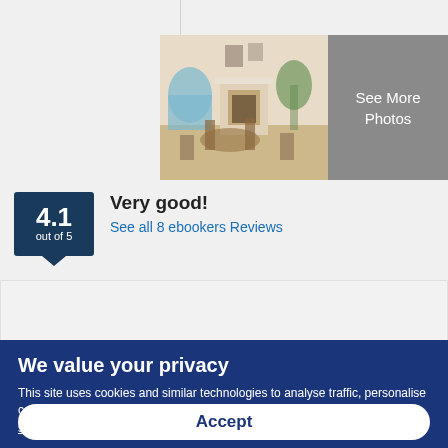[Figure (photo): Interior room photo showing a living/dining room with fireplace, chairs, and plants in a white Mediterranean-style interior]
[Figure (other): Grey box with text 'See More Photos']
4.1 out of 5
Very good!
See all 8 ebookers Reviews
We value your privacy
This site uses cookies and similar technologies to analyse traffic, personalise content and ads, and provide social media features. Learn more and adjust settings.
Accept